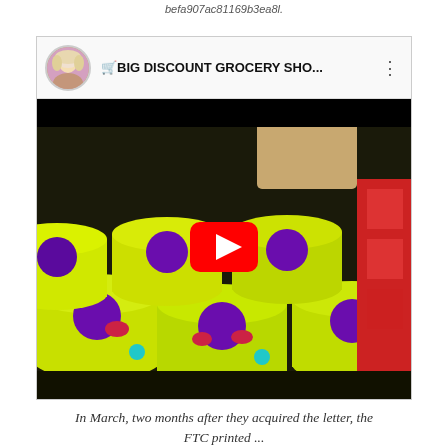befa907ac81169b3ea8l.
[Figure (screenshot): YouTube video thumbnail showing a YouTube player with title '🛒BIG DISCOUNT GROCERY SHO...' and a thumbnail image of many yogurt cups (bright green/yellow lids with purple logo) stacked in piles, with a red YouTube play button in the center. A circular avatar of a blonde woman is visible in the top-left of the player header.]
In March, two months after they acquired the letter, the FTC printed ...